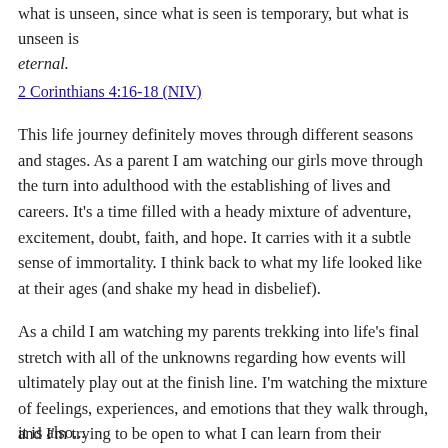what is unseen, since what is seen is temporary, but what is unseen is eternal.
2 Corinthians 4:16-18 (NIV)
This life journey definitely moves through different seasons and stages. As a parent I am watching our girls move through the turn into adulthood with the establishing of lives and careers. It's a time filled with a heady mixture of adventure, excitement, doubt, faith, and hope. It carries with it a subtle sense of immortality. I think back to what my life looked like at their ages (and shake my head in disbelief).
As a child I am watching my parents trekking into life's final stretch with all of the unknowns regarding how events will ultimately play out at the finish line. I'm watching the mixture of feelings, experiences, and emotions that they walk through, and I'm trying to be open to what I can learn from their examples.
it is also...